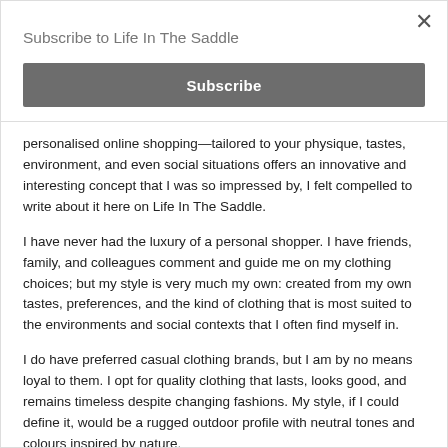Subscribe to Life In The Saddle
Subscribe
personalised online shopping—tailored to your physique, tastes, environment, and even social situations offers an innovative and interesting concept that I was so impressed by, I felt compelled to write about it here on Life In The Saddle.
I have never had the luxury of a personal shopper. I have friends, family, and colleagues comment and guide me on my clothing choices; but my style is very much my own: created from my own tastes, preferences, and the kind of clothing that is most suited to the environments and social contexts that I often find myself in.
I do have preferred casual clothing brands, but I am by no means loyal to them. I opt for quality clothing that lasts, looks good, and remains timeless despite changing fashions. My style, if I could define it, would be a rugged outdoor profile with neutral tones and colours inspired by nature.